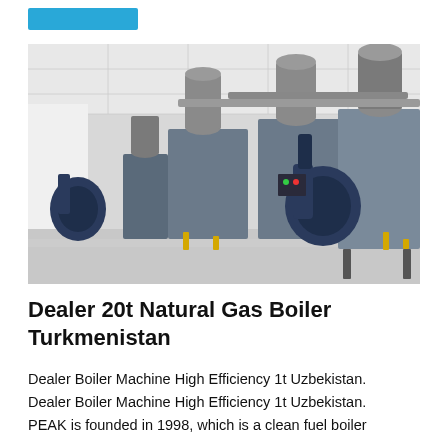[Figure (photo): Industrial boiler room showing multiple large natural gas boilers with blue burners, grey cylindrical exhaust stacks, and piping installed in a clean white-walled facility.]
Dealer 20t Natural Gas Boiler Turkmenistan
Dealer Boiler Machine High Efficiency 1t Uzbekistan. Dealer Boiler Machine High Efficiency 1t Uzbekistan. PEAK is founded in 1998, which is a clean fuel boiler